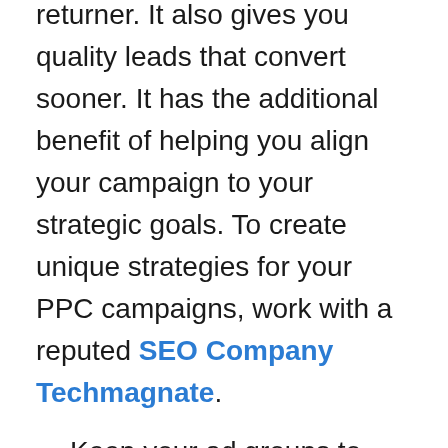returner. It also gives you quality leads that convert sooner. It has the additional benefit of helping you align your campaign to your strategic goals. To create unique strategies for your PPC campaigns, work with a reputed SEO Company Techmagnate.
Keep your ad groups to just three keywords for the exact match type.
For broad match types, you should have one long-tail keyword. It will